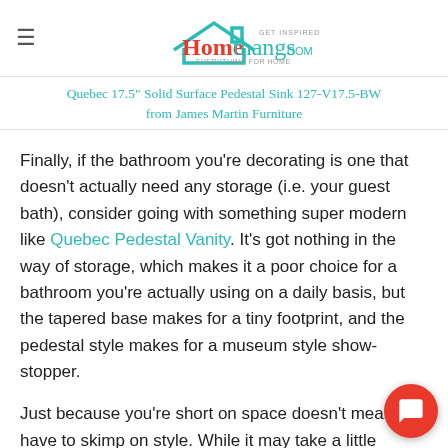Homethangs.com — GET INSPIRED, EVERYTHING FOR HOME
Quebec 17.5" Solid Surface Pedestal Sink 127-V17.5-BW from James Martin Furniture
Finally, if the bathroom you're decorating is one that doesn't actually need any storage (i.e. your guest bath), consider going with something super modern like Quebec Pedestal Vanity. It's got nothing in the way of storage, which makes it a poor choice for a bathroom you're actually using on a daily basis, but the tapered base makes for a tiny footprint, and the pedestal style makes for a museum style show-stopper.
Just because you're short on space doesn't mean you have to skimp on style. While it may take a little creativity to come up with some good storage solutions, and a little extra planning to make a big impression with smaller pieces, with the right